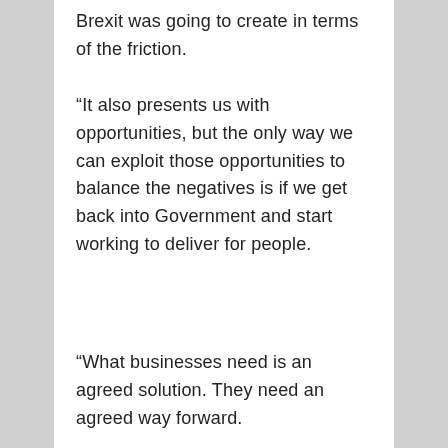Brexit was going to create in terms of the friction.
“It also presents us with opportunities, but the only way we can exploit those opportunities to balance the negatives is if we get back into Government and start working to deliver for people.
“What businesses need is an agreed solution. They need an agreed way forward.
“We are pragmatic around the protocol. If there are ways the protocol can be diminished